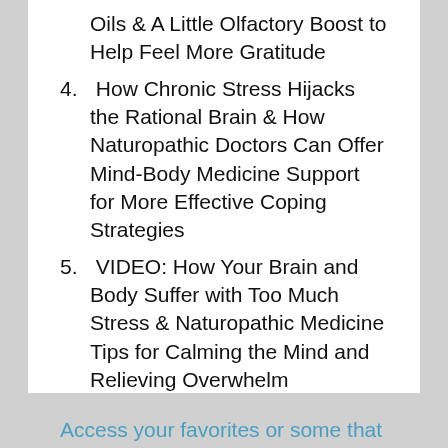Oils & A Little Olfactory Boost to Help Feel More Gratitude
4. How Chronic Stress Hijacks the Rational Brain & How Naturopathic Doctors Can Offer Mind-Body Medicine Support for More Effective Coping Strategies
5. VIDEO: How Your Brain and Body Suffer with Too Much Stress & Naturopathic Medicine Tips for Calming the Mind and Relieving Overwhelm
Access your favorites or some that you may have missed!